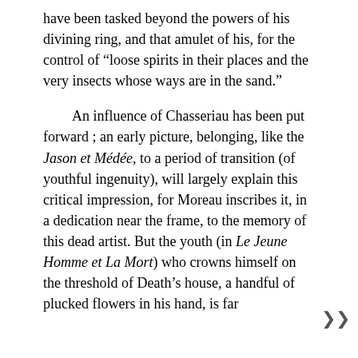have been tasked beyond the powers of his divining ring, and that amulet of his, for the control of “lose spirits in their places and the very insects whose ways are in the sand.”
An influence of Chasseriau has been put forward ; an early picture, belonging, like the Jason et Médée, to a period of transition (of youthful ingenuity), will largely explain this critical impression, for Moreau inscribes it, in a dedication near the frame, to the memory of this dead artist. But the youth (in Le Jeune Homme et La Mort) who crowns himself on the threshold of Death’s house, a handful of plucked flowers in his hand, is far